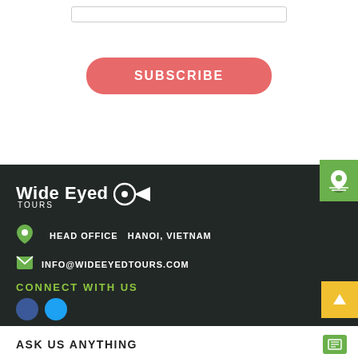[Figure (screenshot): Input text field (partially visible at top)]
SUBSCRIBE
[Figure (screenshot): Green map/location icon button on right edge]
[Figure (logo): Wide Eyed Tours logo with arrow icon]
HEAD OFFICE  HANOI, VIETNAM
INFO@WIDEEYEDTOURS.COM
CONNECT WITH US
[Figure (screenshot): Yellow up-arrow button on right edge]
ASK US ANYTHING